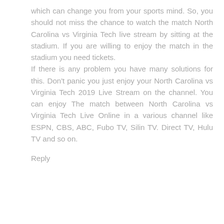which can change you from your sports mind. So, you should not miss the chance to watch the match North Carolina vs Virginia Tech live stream by sitting at the stadium. If you are willing to enjoy the match in the stadium you need tickets.
If there is any problem you have many solutions for this. Don't panic you just enjoy your North Carolina vs Virginia Tech 2019 Live Stream on the channel. You can enjoy The match between North Carolina vs Virginia Tech Live Online in a various channel like ESPN, CBS, ABC, Fubo TV, Silin TV. Direct TV, Hulu TV and so on.
Reply